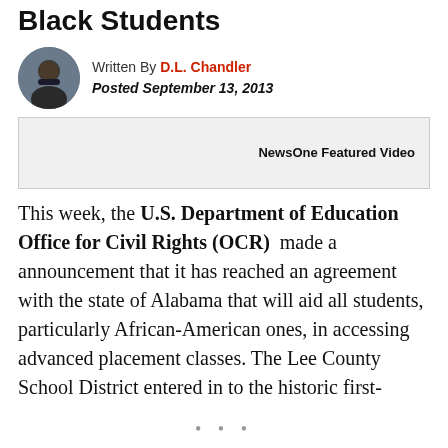Black Students
Written By D.L. Chandler
Posted September 13, 2013
[Figure (other): Circular avatar photo of author D.L. Chandler]
NewsOne Featured Video
This week, the U.S. Department of Education Office for Civil Rights (OCR) made a announcement that it has reached an agreement with the state of Alabama that will aid all students, particularly African-American ones, in accessing advanced placement classes. The Lee County School District entered in to the historic first-